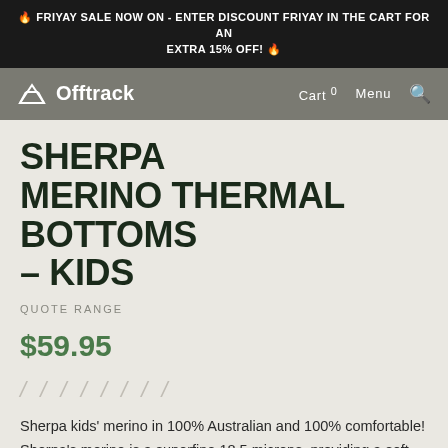🔥 FRIYAY SALE NOW ON - ENTER DISCOUNT FRIYAY IN THE CART FOR AN EXTRA 15% OFF! 🔥
Offtrack — Cart 0  Menu
SHERPA MERINO THERMAL BOTTOMS – KIDS
QUOTE RANGE
$59.95
/ / / / / / / /
Sherpa kids' merino in 100% Australian and 100% comfortable! Sherpa's merino is a superfine 18.5 microns, providing a soft touch against the skin. Unlike other brands, Sherpa merino is itoh free and suitable ...
Read more